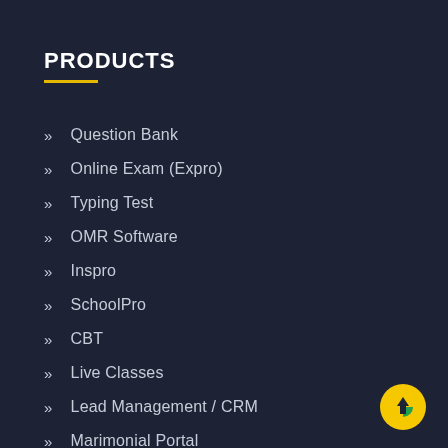PRODUCTS
Question Bank
Online Exam (Expro)
Typing Test
OMR Software
Inspro
SchoolPro
CBT
Live Classes
Lead Management / CRM
Marimonial Portal
[Figure (illustration): Yellow circle button with upward arrow icon and green accent, positioned bottom-right corner]